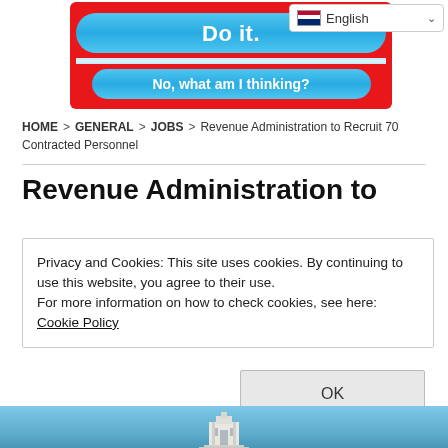[Figure (screenshot): Advertisement banner with red background showing two blue pill-shaped buttons: 'Do it.' and 'No, what am I thinking?']
[Figure (screenshot): Language selector dropdown showing English with flag icon]
HOME > GENERAL > JOBS > Revenue Administration to Recruit 70 Contracted Personnel
Revenue Administration to
Privacy and Cookies: This site uses cookies. By continuing to use this website, you agree to their use.
For more information on how to check cookies, see here: Cookie Policy
OK
[Figure (photo): Bottom strip showing a government building against a blue sky background]